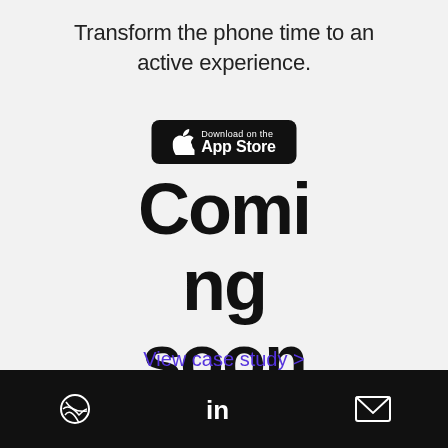Transform the phone time to an active experience.
[Figure (logo): Download on the App Store badge (black rounded rectangle with Apple logo and text 'Download on the App Store')]
Coming soon
View case study >
[Figure (screenshot): Smartphone mockup displaying an app screen with a red header bar and text 'How many fish can you catch?']
[Figure (other): Circular up-arrow navigation button]
Dribbble icon | LinkedIn (in) | Email envelope icon — social/contact links on black bar